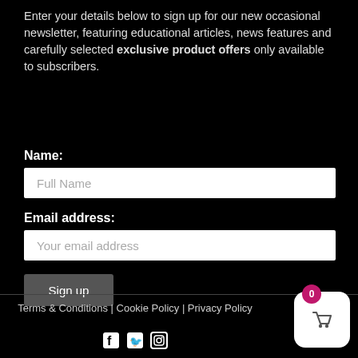Enter your details below to sign up for our new occasional newsletter, featuring educational articles, news features and carefully selected exclusive product offers only available to subscribers.
Name:
Full Name
Email address:
Your email address
Sign up
Terms & Conditions | Cookie Policy | Privacy Policy